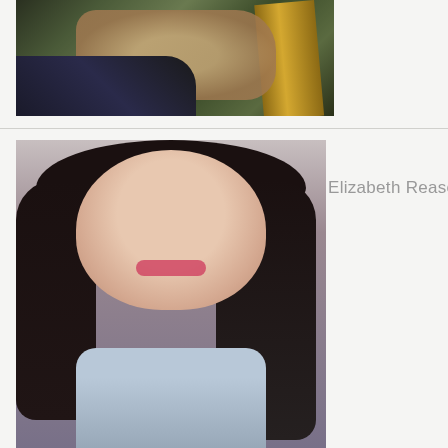[Figure (photo): Close-up photo of hands playing an electric guitar with a colorful body and visible fretboard]
[Figure (photo): Portrait photo of Elizabeth Reaser, a woman with long dark brown hair, wearing a light blue dress, smiling at the camera]
Elizabeth Reaser